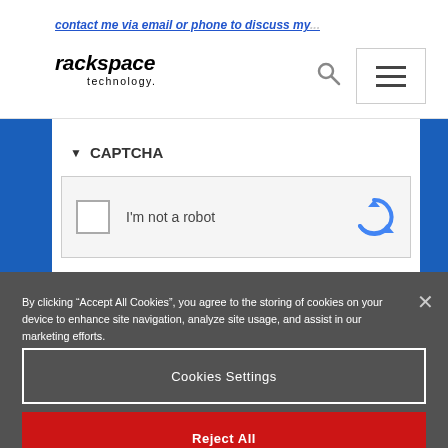contact me via email or phone to discuss my...
[Figure (logo): Rackspace Technology logo - bold italic black text]
▼ CAPTCHA
[Figure (screenshot): reCAPTCHA widget with checkbox and 'I'm not a robot' text with reCAPTCHA logo]
By clicking “Accept All Cookies”, you agree to the storing of cookies on your device to enhance site navigation, analyze site usage, and assist in our marketing efforts.
Cookies Settings
Reject All
Accept All Cookies